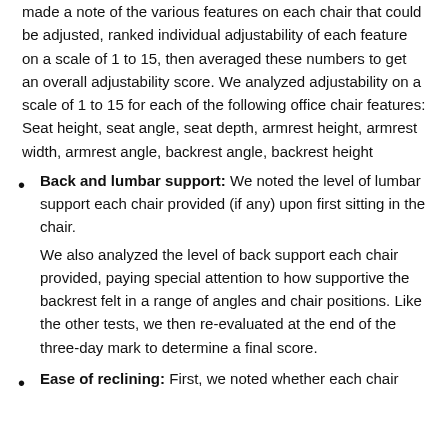made a note of the various features on each chair that could be adjusted, ranked individual adjustability of each feature on a scale of 1 to 15, then averaged these numbers to get an overall adjustability score. We analyzed adjustability on a scale of 1 to 15 for each of the following office chair features: Seat height, seat angle, seat depth, armrest height, armrest width, armrest angle, backrest angle, backrest height
Back and lumbar support: We noted the level of lumbar support each chair provided (if any) upon first sitting in the chair.
We also analyzed the level of back support each chair provided, paying special attention to how supportive the backrest felt in a range of angles and chair positions. Like the other tests, we then re-evaluated at the end of the three-day mark to determine a final score.
Ease of reclining: First, we noted whether each chair